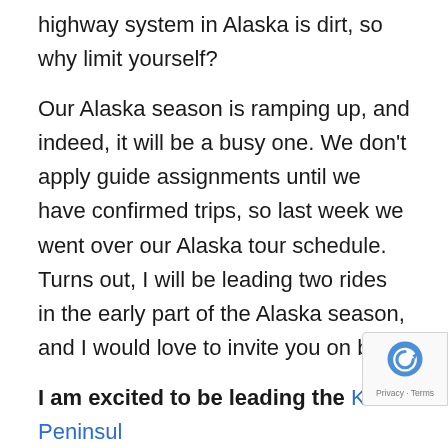highway system in Alaska is dirt, so why limit yourself?
Our Alaska season is ramping up, and indeed, it will be a busy one. We don’t apply guide assignments until we have confirmed trips, so last week we went over our Alaska tour schedule. Turns out, I will be leading two rides in the early part of the Alaska season, and I would love to invite you on both.
I am excited to be leading the Kenai Peninsula Adventure at the end of May. This shorter al… paved ride features the condensed yet stunning